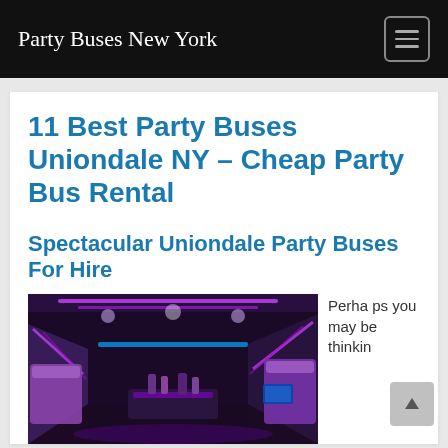Party Buses New York
11 Best Party Buses Uniondale NY – Cheap Party Bus Rental
Spectacular Uniondale Party Buses For Hire
[Figure (photo): Interior of a party bus with purple LED lighting, plush seating, and bar area]
Perhaps you may be thinkin